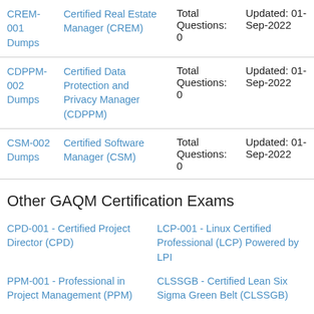| Code | Name | Questions | Updated |
| --- | --- | --- | --- |
| CREM-001 Dumps | Certified Real Estate Manager (CREM) | Total Questions: 0 | Updated: 01-Sep-2022 |
| CDPPM-002 Dumps | Certified Data Protection and Privacy Manager (CDPPM) | Total Questions: 0 | Updated: 01-Sep-2022 |
| CSM-002 Dumps | Certified Software Manager (CSM) | Total Questions: 0 | Updated: 01-Sep-2022 |
Other GAQM Certification Exams
CPD-001 - Certified Project Director (CPD)
LCP-001 - Linux Certified Professional (LCP) Powered by LPI
PPM-001 - Professional in Project Management (PPM)
CLSSGB - Certified Lean Six Sigma Green Belt (CLSSGB)